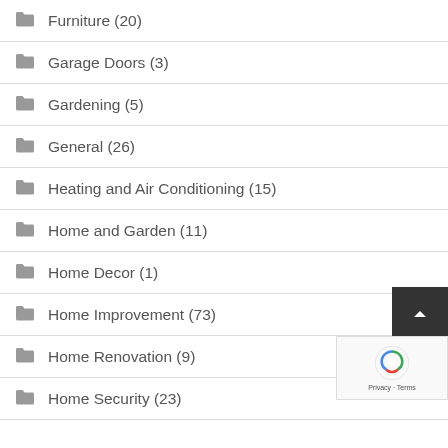Furniture (20)
Garage Doors (3)
Gardening (5)
General (26)
Heating and Air Conditioning (15)
Home and Garden (11)
Home Decor (1)
Home Improvement (73)
Home Renovation (9)
Home Security (23)